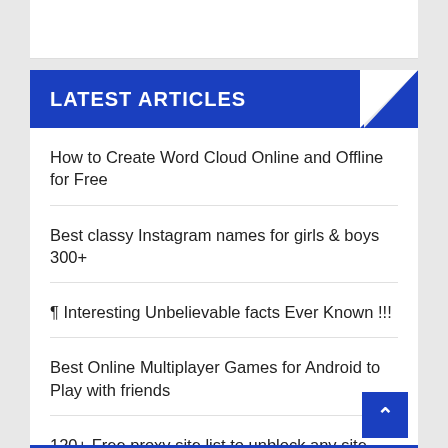LATEST ARTICLES
How to Create Word Cloud Online and Offline for Free
Best classy Instagram names for girls & boys 300+
¶ Interesting Unbelievable facts Ever Known !!!
Best Online Multiplayer Games for Android to Play with friends
120+ Free proxy site list to unblock any site